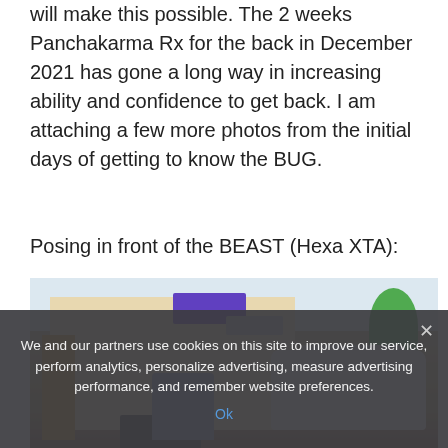will make this possible. The 2 weeks Panchakarma Rx for the back in December 2021 has gone a long way in increasing ability and confidence to get back. I am attaching a few more photos from the initial days of getting to know the BUG.
Posing in front of the BEAST (Hexa XTA):
[Figure (photo): A person posing on a bicycle/bike in front of a building, with a white SUV (Tata Hexa XTA) parked nearby. There is a purple sign on the building, trees in the background, and an air conditioning unit visible.]
We and our partners use cookies on this site to improve our service, perform analytics, personalize advertising, measure advertising performance, and remember website preferences.
Ok